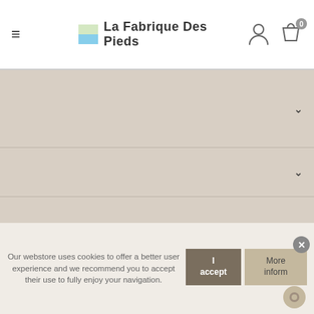La Fabrique Des Pieds
[Figure (other): Accordion menu items with chevron expand icons on a beige/tan background, 4 rows separated by horizontal lines]
Our webstore uses cookies to offer a better user experience and we recommend you to accept their use to fully enjoy your navigation.